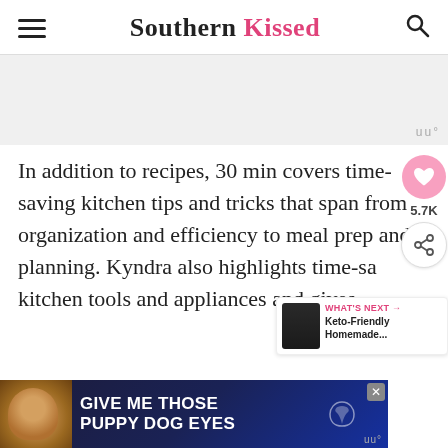Southern Kissed
[Figure (screenshot): Gray advertisement placeholder banner]
In addition to recipes, 30 min covers time-saving kitchen tips and tricks that span from organization and efficiency to meal prep and planning. Kyndra also highlights time-saving kitchen tools and appliances and gives
[Figure (infographic): GIVE ME THOSE PUPPY DOG EYES advertisement banner at bottom of page]